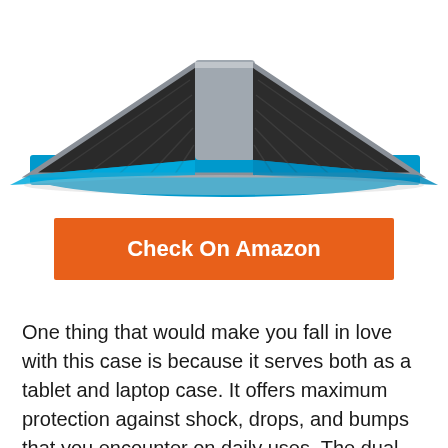[Figure (photo): Product photo of a black rugged tablet/laptop case propped open in tent mode, showing a blue keyboard attachment at the bottom and dark textured back panel]
Check On Amazon
One thing that would make you fall in love with this case is because it serves both as a tablet and laptop case. It offers maximum protection against shock, drops, and bumps that you encounter on daily uses. The dual material construction makes it rigid making it incredibly shock resistant. The rugged two in one design also allows control and access to features of